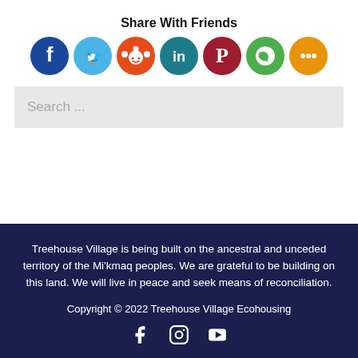Share With Friends
[Figure (illustration): Row of 7 colored social media share buttons: Facebook (dark blue), Twitter (light blue), Reddit (orange-red), LinkedIn (teal/blue), Pinterest (dark red), WhatsApp (green), Share (orange)]
Search ...
Treehouse Village is being built on the ancestral and unceded territory of the Mi'kmaq peoples. We are grateful to be building on this land. We will live in peace and seek means of reconciliation.
Copyright © 2022 Treehouse Village Ecohousing
[Figure (illustration): Three white social media icons: Facebook, Instagram, YouTube]